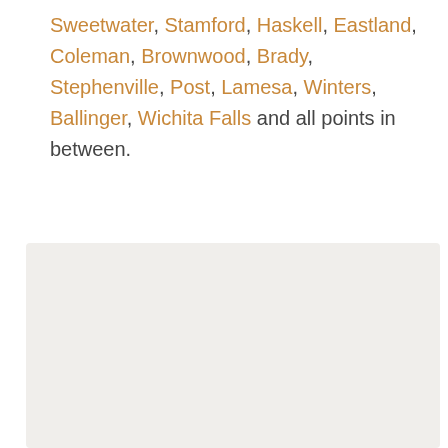Sweetwater, Stamford, Haskell, Eastland, Coleman, Brownwood, Brady, Stephenville, Post, Lamesa, Winters, Ballinger, Wichita Falls and all points in between.
[Figure (infographic): Light gray banner section with 'LET'S GET STARTED' in gold uppercase spaced letters flanked by dash lines, and below it large serif heading 'Get your project started with an']